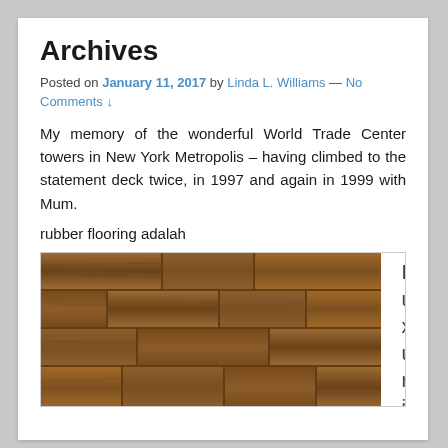Archives
Posted on January 11, 2017 by Linda L. Williams — No Comments ↓
My memory of the wonderful World Trade Center towers in New York Metropolis – having climbed to the statement deck twice, in 1997 and again in 1999 with Mum.
rubber flooring adalah
[Figure (photo): Close-up photograph of brown wood laminate flooring panels with a vertical text overlay reading 'Luxurious']